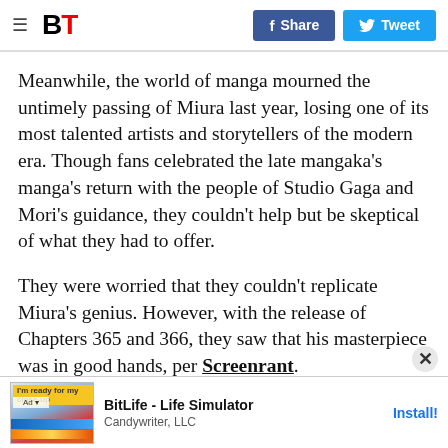BT | Share | Tweet
Meanwhile, the world of manga mourned the untimely passing of Miura last year, losing one of its most talented artists and storytellers of the modern era. Though fans celebrated the late mangaka's manga's return with the people of Studio Gaga and Mori's guidance, they couldn't help but be skeptical of what they had to offer.
They were worried that they couldn't replicate Miura's genius. However, with the release of Chapters 365 and 366, they saw that his masterpiece was in good hands, per Screenrant.
[Figure (other): Advertisement banner: BitLife - Life Simulator by Candywriter, LLC with Install button]